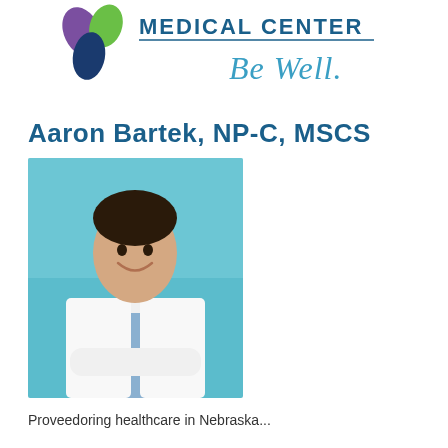[Figure (logo): Sumners Medical Center logo with leaves icon and 'Be Well.' cursive tagline]
Aaron Bartek, NP-C, MSCS
[Figure (photo): Professional headshot of Aaron Bartek in a white lab coat with arms crossed, smiling, against a teal background]
Proveedoring healthcare in Nebraska...